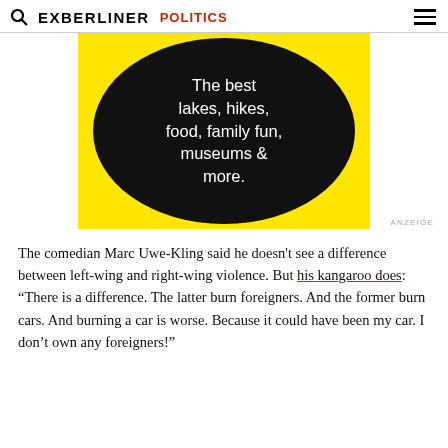EXBERLINER POLITICS
[Figure (illustration): Advertisement banner with yellow background and black circle containing white text: 'The best lakes, hikes, food, family fun, museums & more.']
ANZEIGE
The comedian Marc Uwe-Kling said he doesn't see a difference between left-wing and right-wing violence. But his kangaroo does: “There is a difference. The latter burn foreigners. And the former burn cars. And burning a car is worse. Because it could have been my car. I don’t own any foreigners!”